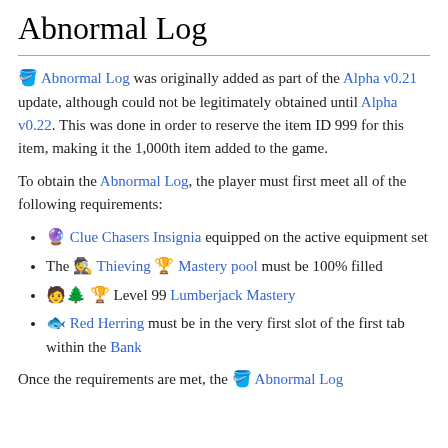Abnormal Log
🪣 Abnormal Log was originally added as part of the Alpha v0.21 update, although could not be legitimately obtained until Alpha v0.22. This was done in order to reserve the item ID 999 for this item, making it the 1,000th item added to the game.
To obtain the Abnormal Log, the player must first meet all of the following requirements:
🔮 Clue Chasers Insignia equipped on the active equipment set
The 🕵 Thieving 🏆 Mastery pool must be 100% filled
🧑‍🌲 🏆 Level 99 Lumberjack Mastery
🐟 Red Herring must be in the very first slot of the first tab within the Bank
Once the requirements are met, the 🪣 Abnormal Log